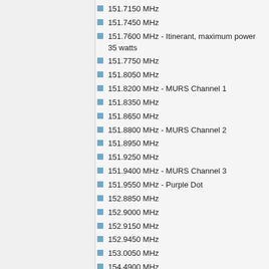151.7150 MHz
151.7450 MHz
151.7600 MHz - Itinerant, maximum power 35 watts
151.7750 MHz
151.8050 MHz
151.8200 MHz - MURS Channel 1
151.8350 MHz
151.8650 MHz
151.8800 MHz - MURS Channel 2
151.8950 MHz
151.9250 MHz
151.9400 MHz - MURS Channel 3
151.9550 MHz - Purple Dot
152.8850 MHz
152.9000 MHz
152.9150 MHz
152.9450 MHz
153.0050 MHz
154.4900 MHz
154.4975 MHz - Mobile or base
154.5050 MHz - Mobile or base